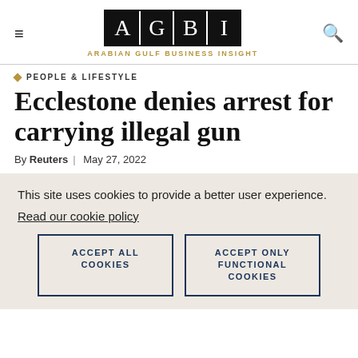AGBI — ARABIAN GULF BUSINESS INSIGHT
PEOPLE & LIFESTYLE
Ecclestone denies arrest for carrying illegal gun
By Reuters | May 27, 2022
This site uses cookies to provide a better user experience.
Read our cookie policy
ACCEPT ALL COOKIES
ACCEPT ONLY FUNCTIONAL COOKIES